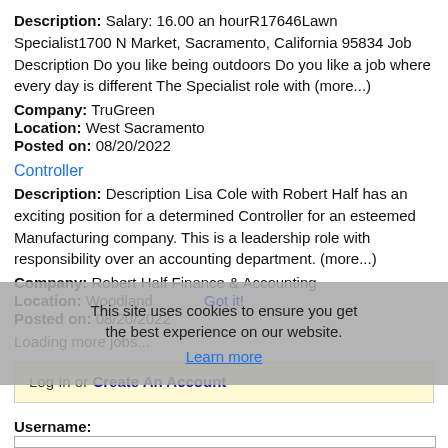Description: Salary: 16.00 an hourR17646Lawn Specialist1700 N Market, Sacramento, California 95834 Job Description Do you like being outdoors Do you like a job where every day is different The Specialist role with (more...)
Company: TruGreen
Location: West Sacramento
Posted on: 08/20/2022
Controller
Description: Description Lisa Cole with Robert Half has an exciting position for a determined Controller for an esteemed Manufacturing company. This is a leadership role with responsibility over an accounting department. (more...)
Company: Robert Half Finance & Accounting
Location: Woodland
Posted on: 08/20/2022
Loading more jobs...
This site uses cookies to ensure you get the best experience on our website. Learn more
Got it!
Log In or Create An Account
Username: